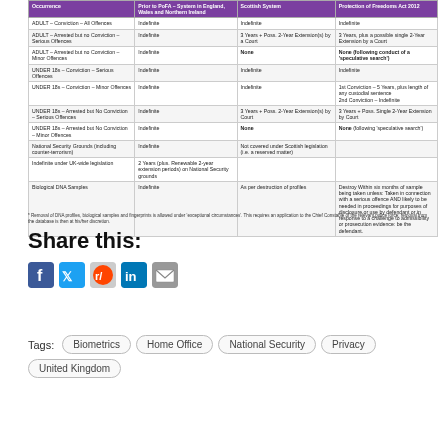| Occurrence | Prior to PoFA – System in England, Wales and Northern Ireland | Scottish System | Protection of Freedoms Act 2012 |
| --- | --- | --- | --- |
| ADULT – Conviction – All Offences | Indefinite | Indefinite | Indefinite |
| ADULT – Arrested but no Conviction – Serious Offences | Indefinite | 3 Years + Poss. 2-Year Extension(s) by a Court | 3 Years, plus a possible single 2-Year Extension by a Court |
| ADULT – Arrested but no Conviction – Minor Offences | Indefinite | None | None (following conduct of a 'speculative search') |
| UNDER 18s – Conviction – Serious Offences | Indefinite | Indefinite | Indefinite |
| UNDER 18s – Conviction – Minor Offences | Indefinite | Indefinite | 1st Conviction – 5 Years, plus length of any custodial sentence
2nd Conviction – Indefinite |
| UNDER 18s – Arrested but No Conviction – Serious Offences | Indefinite | 3 Years + Poss. 2-Year Extension(s) by Court | 3 Years + Poss. Single 2-Year Extension by Court |
| UNDER 18s – Arrested but No Conviction – Minor Offences | Indefinite | None | None (following 'speculative search') |
| National Security Grounds (including counter-terrorism) | Indefinite | Not covered under Scottish legislation (i.e. a reserved matter) |  |
| Indefinite under UK-wide legislation | 2 Years (plus. Renewable 2-year extension periods) on National Security grounds |  |  |
| Biological DNA Samples | Indefinite | As per destruction of profiles | Destroy Within six months of sample being taken unless: Taken in connection with a serious offence AND likely to be needed in proceedings for purposes of disclosure or use by defendant or in response to a challenge to admissibility or prosecution evidence: be the defendant. |
* Removal of DNA profiles, biological samples and fingerprints is allowed under 'exceptional circumstances'. This requires an application to the Chief Constable of the relevant police force; removal from the database is then at his/her discretion.
Share this:
[Figure (other): Social media sharing icons: Facebook, Twitter, Reddit, LinkedIn, Email]
Tags: Biometrics, Home Office, National Security, Privacy, United Kingdom